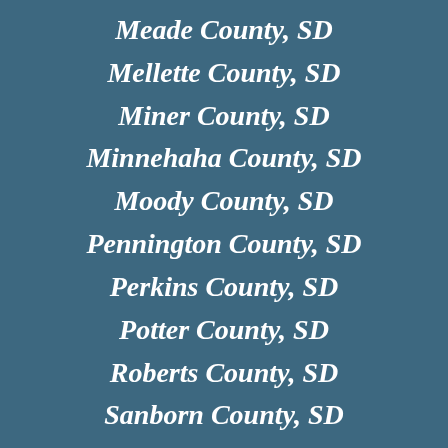Meade County, SD
Mellette County, SD
Miner County, SD
Minnehaha County, SD
Moody County, SD
Pennington County, SD
Perkins County, SD
Potter County, SD
Roberts County, SD
Sanborn County, SD
Shannon County, SD
Spink County, SD
Stanley County, SD